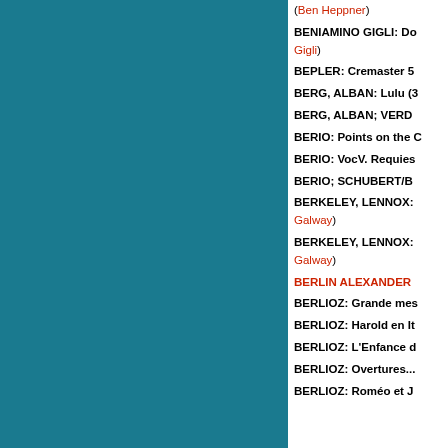(Ben Heppner)
BENIAMINO GIGLI: Do... Gigli)
BEPLER: Cremaster 5
BERG, ALBAN: Lulu (3...
BERG, ALBAN; VERD...
BERIO: Points on the C...
BERIO: VocV. Requies...
BERIO; SCHUBERT/B...
BERKELEY, LENNOX: ... Galway)
BERKELEY, LENNOX: ... Galway)
BERLIN ALEXANDER...
BERLIOZ: Grande mes...
BERLIOZ: Harold en It...
BERLIOZ: L'Enfance d...
BERLIOZ: Overtures...
BERLIOZ: Roméo et J...